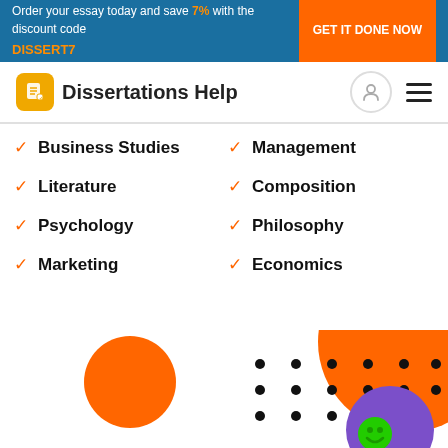Order your essay today and save 7% with the discount code DISSERT7 GET IT DONE NOW
Dissertations Help
Business Studies
Management
Literature
Composition
Psychology
Philosophy
Marketing
Economics
[Figure (illustration): Decorative orange circle on the left, large orange circle on the right, purple circle with green circle (chat icon), and a grid of dots in the middle-right area]